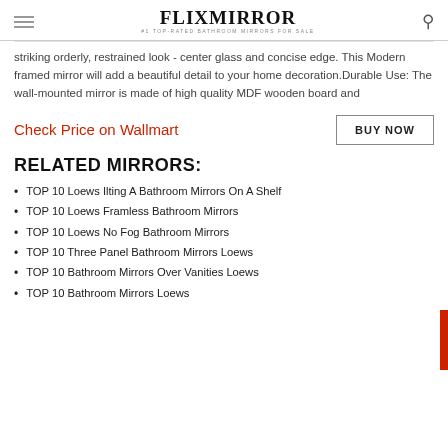FLIXMIRROR #1 TOP-RATED BATHROOM MIRRORS FOR SALE
striking orderly, restrained look - center glass and concise edge. This Modern framed mirror will add a beautiful detail to your home decoration.Durable Use: The wall-mounted mirror is made of high quality MDF wooden board and
Check Price on Wallmart
BUY NOW
RELATED MIRRORS:
TOP 10 Loews Ilting A Bathroom Mirrors On A Shelf
TOP 10 Loews Framless Bathroom Mirrors
TOP 10 Loews No Fog Bathroom Mirrors
TOP 10 Three Panel Bathroom Mirrors Loews
TOP 10 Bathroom Mirrors Over Vanities Loews
TOP 10 Bathroom Mirrors Loews